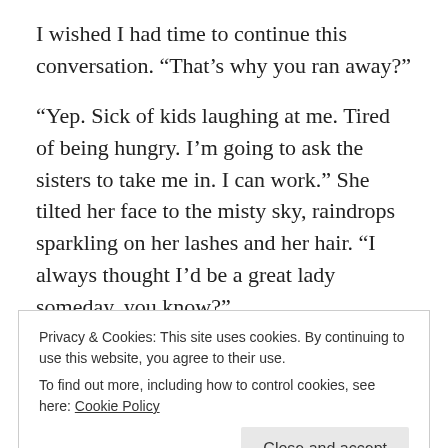I wished I had time to continue this conversation. “That’s why you ran away?”
“Yep. Sick of kids laughing at me. Tired of being hungry. I’m going to ask the sisters to take me in. I can work.” She tilted her face to the misty sky, raindrops sparkling on her lashes and her hair. “I always thought I’d be a great lady someday, you know?”
“A great lady?” My voice sounded as hollow as the stone angel weeping over the tomb.
She flung her arms wide. “I’d marry a prince or a rich duke.”
Privacy & Cookies: This site uses cookies. By continuing to use this website, you agree to their use.
To find out more, including how to control cookies, see here: Cookie Policy
once more. Last night, I’d withdrawn ten